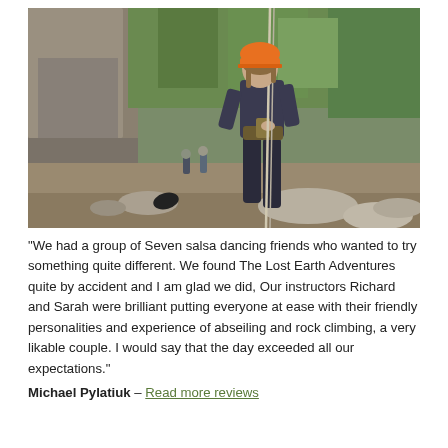[Figure (photo): Person wearing an orange helmet abseiling down a rock face outdoors, with green trees and rocky terrain in the background. Other people visible in background near the rock face.]
“We had a group of Seven salsa dancing friends who wanted to try something quite different. We found The Lost Earth Adventures quite by accident and I am glad we did, Our instructors Richard and Sarah were brilliant putting everyone at ease with their friendly personalities and experience of abseiling and rock climbing, a very likable couple. I would say that the day exceeded all our expectations.”
Michael Pylatiuk – Read more reviews